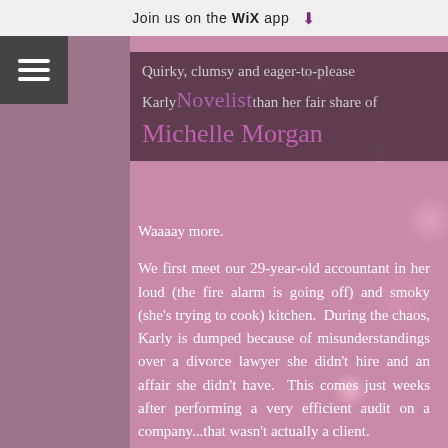Join us on the WiX app ⬇
Quirky, clumsy and eager-to-please Karly Novelist than her fair share of
Michelle Morgan
Waaaay more.
We first meet our 29-year-old accountant in her loud (the fire alarm is going off) and smoky (she's trying to cook) kitchen.  During the chaos, Karly is dumped because of misunderstandings over a divorce lawyer she didn't hire and an affair she didn't have.  This comes just weeks after performing a very efficient audit on a company...that wasn't actually a client.
Oops.